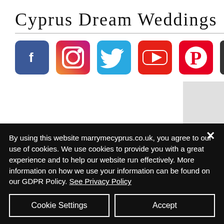Cyprus Dream Weddings
[Figure (screenshot): Social media icons bar: Facebook, Instagram, Twitter, YouTube, Pinterest, and a hamburger menu button]
Our experienced, professional wedding photographers will capture your wedding day with passion, style and speed; they know the best locations for picture-perfect settings; and guarantee you prints of the highest quality.
By using this website marrymecyprus.co.uk, you agree to our use of cookies. We use cookies to provide you with a great experience and to help our website run effectively. More information on how we use your information can be found on our GDPR Policy. See Privacy Policy
Cookie Settings
Accept